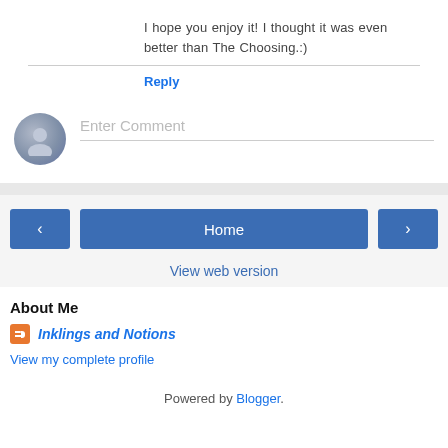I hope you enjoy it! I thought it was even better than The Choosing.:)
Reply
Enter Comment
[Figure (infographic): Navigation bar with previous arrow button, Home button, and next arrow button]
View web version
About Me
Inklings and Notions
View my complete profile
Powered by Blogger.